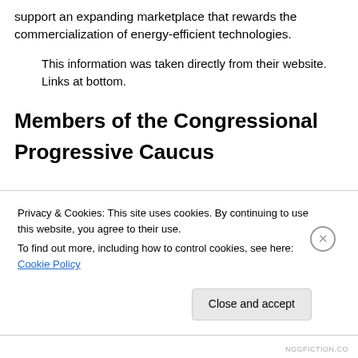support an expanding marketplace that rewards the commercialization of energy-efficient technologies.
This information was taken directly from their website. Links at bottom.
Members of the Congressional Progressive Caucus
As of Wednesday, January 23, 2013
Privacy & Cookies: This site uses cookies. By continuing to use this website, you agree to their use.
To find out more, including how to control cookies, see here: Cookie Policy
Close and accept